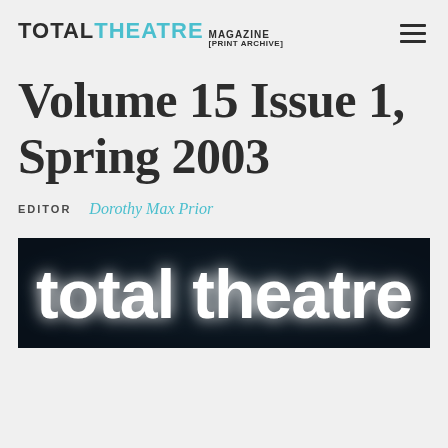TOTAL THEATRE MAGAZINE [PRINT ARCHIVE]
Volume 15 Issue 1, Spring 2003
EDITOR   Dorothy Max Prior
[Figure (photo): Dark photograph with large glowing white text reading 'total theatre' in lowercase, blurred/illuminated effect against a dark background]